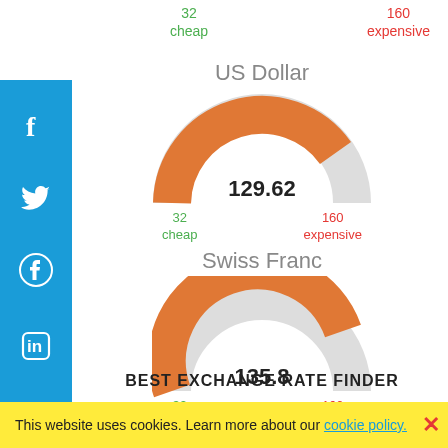[Figure (donut-chart): Gauge chart for US Dollar exchange rate showing 129.62 on a scale of 32 (cheap) to 160 (expensive)]
[Figure (donut-chart): Gauge chart for Swiss Franc exchange rate showing 135.8 on a scale of 32 (cheap) to 160 (expensive)]
BEST EXCHANGE RATE FINDER
This website uses cookies. Learn more about our cookie policy.